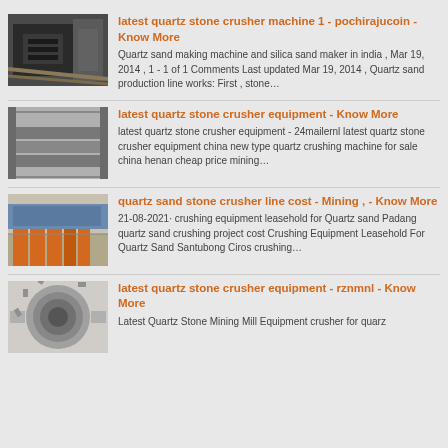[Figure (photo): Industrial machinery interior, dark metallic equipment]
latest quartz stone crusher machine 1 - pochirajucoin - Know More
Quartz sand making machine and silica sand maker in india , Mar 19, 2014 , 1 - 1 of 1 Comments Last updated Mar 19, 2014 , Quartz sand production line works: First , stone…
[Figure (photo): Industrial equipment, gray rectangular machinery in a row]
latest quartz stone crusher equipment - Know More
latest quartz stone crusher equipment - 24mailernl latest quartz stone crusher equipment china new type quartz crushing machine for sale china henan cheap price mining…
[Figure (photo): Mining/industrial facility with orange and blue equipment]
quartz sand stone crusher line cost - Mining , - Know More
21-08-2021· crushing equipment leasehold for Quartz sand Padang quartz sand crushing project cost Crushing Equipment Leasehold For Quartz Sand Santubong Ciros crushing…
[Figure (photo): Large circular industrial roller or drum equipment]
latest quartz stone crusher equipment - rznmnl - Know More
Latest Quartz Stone Mining Mill Equipment crusher for quarz